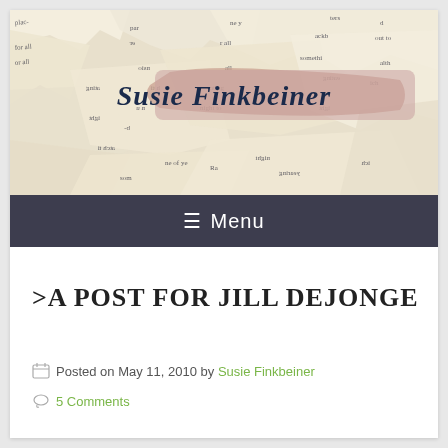[Figure (illustration): Blog header image showing torn pieces of book pages with text in the background and a cursive script logo reading 'Susie Finkbeiner' on a pink/mauve highlight band in the center.]
≡ Menu
>A POST FOR JILL DEJONGE
Posted on May 11, 2010 by Susie Finkbeiner
5 Comments